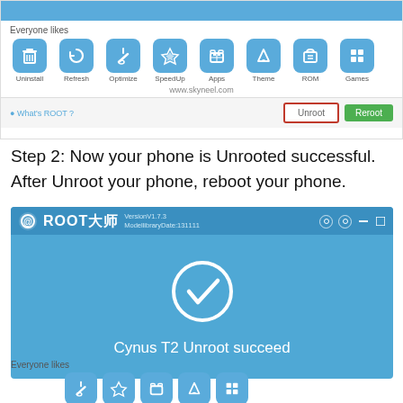[Figure (screenshot): ROOT大师 app interface showing icons row (Uninstall, Refresh, Optimize, SpeedUp, Apps, Theme, ROM, Games) with Unroot button highlighted in red border and green Reroot button]
Step 2: Now your phone is Unrooted successful. After Unroot your phone, reboot your phone.
[Figure (screenshot): ROOT大师 app version V1.7.3 showing success screen with checkmark circle and text 'Cynus T2 Unroot succeed']
[Figure (screenshot): Bottom partial screenshot showing 'Everyone likes' label and icons row including Optimize, SpeedUp, Apps, Theme, Games icons]